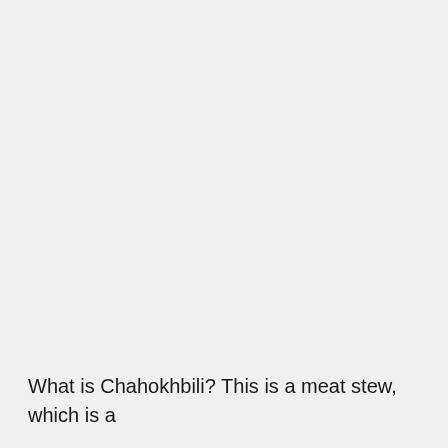What is Chahokhbili? This is a meat stew, which is a